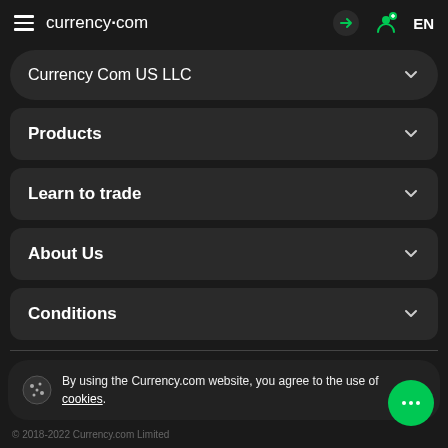currency.com
Currency Com US LLC
Products
Learn to trade
About Us
Conditions
Currency Com Global LLC is a limited liability company registered in St. Vincent & the Grenadines under company number 1291 LLC 2021 with its registered office at First Floor, First St. Vincent Bank Ltd Building, James St...
By using the Currency.com website, you agree to the use of cookies.
© 2018-2022 Currency.com Limited